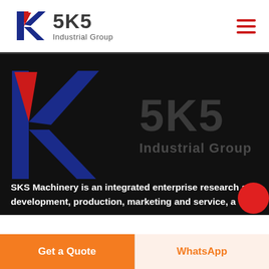[Figure (logo): SKS Industrial Group logo in header: stylized K in red and blue, with text '5K5' and 'Industrial Group']
[Figure (logo): Large SKS Industrial Group watermark logo on dark background: large stylized K in red and blue, with large dark-grey '5K5' text and 'Industrial Group' subtitle]
SKS Machinery is an integrated enterprise research and development, production, marketing and service, a
[Figure (other): Get a Quote button (orange) and WhatsApp button (light background, orange text)]